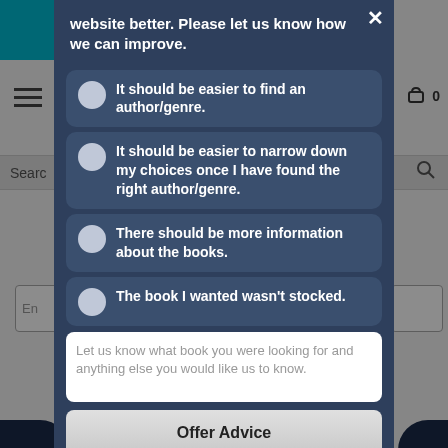website better. Please let us know how we can improve.
It should be easier to find an author/genre.
It should be easier to narrow down my choices once I have found the right author/genre.
There should be more information about the books.
The book I wanted wasn't stocked.
Let us know what book you were looking for and anything else you would like us to know.
Offer Advice
English
Powered by luckyorange